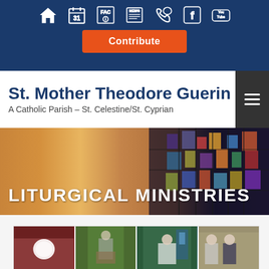Navigation bar with icons: Home, Calendar, FAC, NEWS, Phone, Facebook, YouTube, and Contribute button
St. Mother Theodore Guerin
A Catholic Parish – St. Celestine/St. Cyprian
LITURGICAL MINISTRIES
[Figure (photo): Four photos of liturgical ministries: communion host being held, lector at ambo, child altar server, and women readers]
Liturgical Ministries photo strip